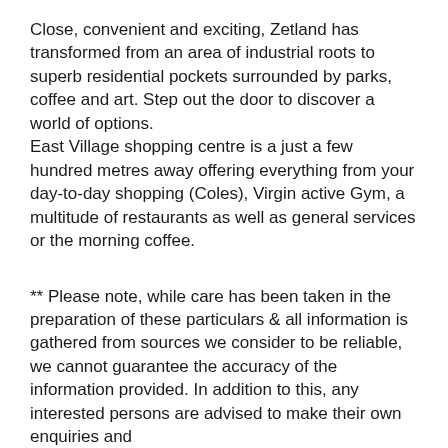Close, convenient and exciting, Zetland has transformed from an area of industrial roots to superb residential pockets surrounded by parks, coffee and art. Step out the door to discover a world of options. East Village shopping centre is a just a few hundred metres away offering everything from your day-to-day shopping (Coles), Virgin active Gym, a multitude of restaurants as well as general services or the morning coffee.
** Please note, while care has been taken in the preparation of these particulars & all information is gathered from sources we consider to be reliable, we cannot guarantee the accuracy of the information provided. In addition to this, any interested persons are advised to make their own enquiries and